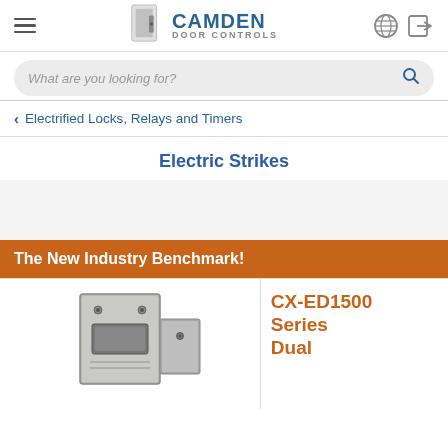[Figure (logo): Camden Door Controls logo with stylized door icon and text]
What are you looking for?
< Electrified Locks, Relays and Timers
Electric Strikes
The New Industry Benchmark!
[Figure (photo): CX-ED1500 Series electric strike product photo showing metal hardware]
CX-ED1500 Series Dual